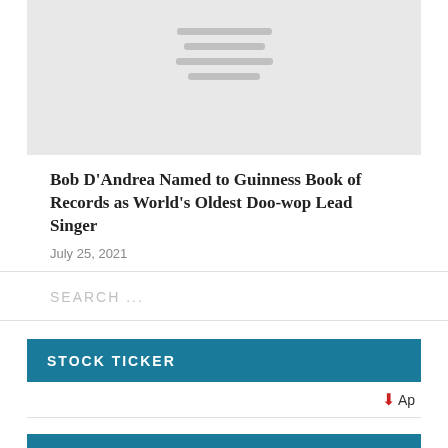[Figure (illustration): Gray placeholder image with horizontal lines indicating an image loading state]
Bob D'Andrea Named to Guinness Book of Records as World's Oldest Doo-wop Lead Singer
July 25, 2021
SEARCH ...
STOCK TICKER
↓ Ap
TODAY'S FORECAST